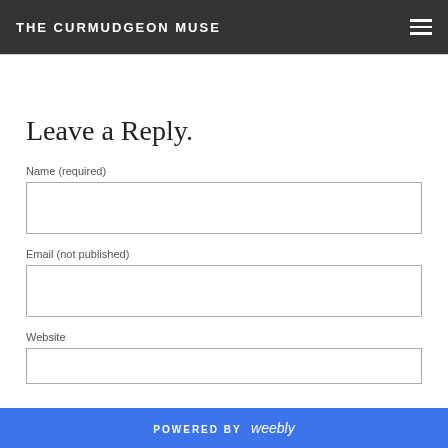THE CURMUDGEON MUSE
Leave a Reply.
Name (required)
Email (not published)
Website
POWERED BY weebly